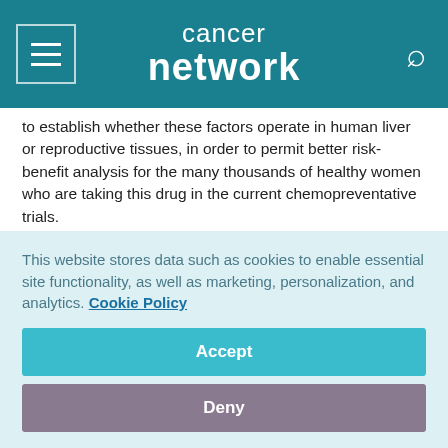cancer network
to establish whether these factors operate in human liver or reproductive tissues, in order to permit better risk-benefit analysis for the many thousands of healthy women who are taking this drug in the current chemopreventative trials.
Liver DNA Damage Following Exposure of Rats or Mice to Tamoxifen
Using the 32P-postlabeling technique, it was shown that DNA
This website stores data such as cookies to enable essential site functionality, as well as marketing, personalization, and analytics. Cookie Policy
Accept
Deny